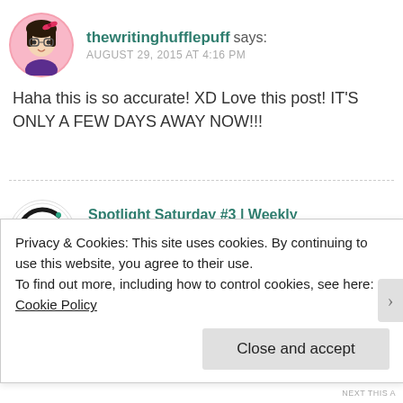thewritinghufflepuff says:
AUGUST 29, 2015 AT 4:16 PM
Haha this is so accurate! XD Love this post! IT'S ONLY A FEW DAYS AWAY NOW!!!
Spotlight Saturday #3 | Weekly Feature | Josies Book Corner says:
AUGUST 29, 2015 AT 2:55 PM
[...] blog post of coming from Becca @ Becca and
Privacy & Cookies: This site uses cookies. By continuing to use this website, you agree to their use.
To find out more, including how to control cookies, see here: Cookie Policy
Close and accept